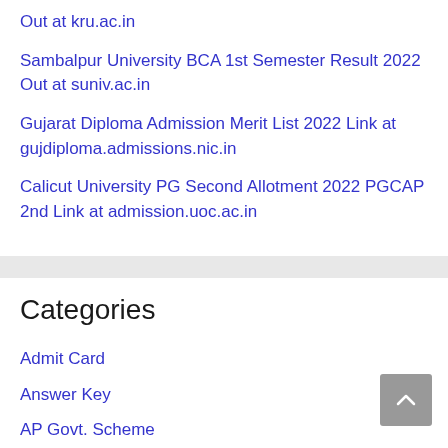Out at kru.ac.in
Sambalpur University BCA 1st Semester Result 2022 Out at suniv.ac.in
Gujarat Diploma Admission Merit List 2022 Link at gujdiploma.admissions.nic.in
Calicut University PG Second Allotment 2022 PGCAP 2nd Link at admission.uoc.ac.in
Categories
Admit Card
Answer Key
AP Govt. Scheme